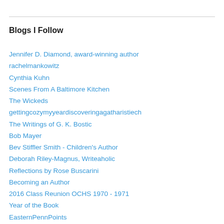Blogs I Follow
Jennifer D. Diamond, award-winning author
rachelmankowitz
Cynthia Kuhn
Scenes From A Baltimore Kitchen
The Wickeds
gettingcozymyyeardiscoveringagatharistiech
The Writings of G. K. Bostic
Bob Mayer
Bev Stiffler Smith - Children's Author
Deborah Riley-Magnus, Writeaholic
Reflections by Rose Buscarini
Becoming an Author
2016 Class Reunion OCHS 1970 - 1971
Year of the Book
EasternPennPoints
The Laughing Housewife